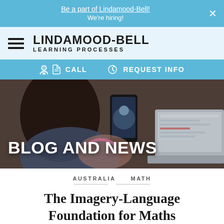Be a part of Lindamood-Bell! We're hiring!
[Figure (logo): Lindamood-Bell Learning Processes logo with hamburger menu icon]
CALL   REQUEST INFO
[Figure (photo): Person using a laptop and holding a phone for a video call, with a child nearby. Hero banner reading BLOG AND NEWS.]
AUSTRALIA   MATH
The Imagery-Language Foundation for Maths